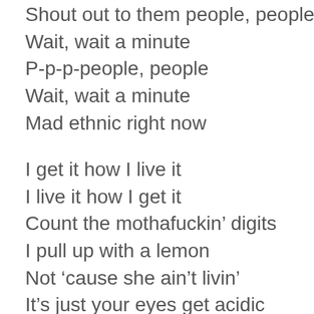Shout out to them people, people
Wait, wait a minute
P-p-p-people, people
Wait, wait a minute
Mad ethnic right now
I get it how I live it
I live it how I get it
Count the mothafuckin’ digits
I pull up with a lemon
Not ‘cause she ain’t livin’
It’s just your eyes get acidic
And this here ain’t a scrimmage
Mothafucka, we ain’t finished